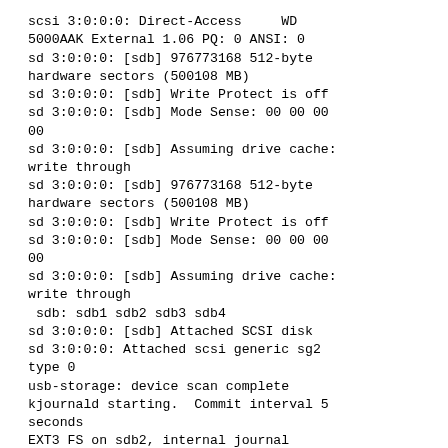scsi 3:0:0:0: Direct-Access     WD 5000AAK External 1.06 PQ: 0 ANSI: 0
sd 3:0:0:0: [sdb] 976773168 512-byte hardware sectors (500108 MB)
sd 3:0:0:0: [sdb] Write Protect is off
sd 3:0:0:0: [sdb] Mode Sense: 00 00 00 00
sd 3:0:0:0: [sdb] Assuming drive cache: write through
sd 3:0:0:0: [sdb] 976773168 512-byte hardware sectors (500108 MB)
sd 3:0:0:0: [sdb] Write Protect is off
sd 3:0:0:0: [sdb] Mode Sense: 00 00 00 00
sd 3:0:0:0: [sdb] Assuming drive cache: write through
 sdb: sdb1 sdb2 sdb3 sdb4
sd 3:0:0:0: [sdb] Attached SCSI disk
sd 3:0:0:0: Attached scsi generic sg2 type 0
usb-storage: device scan complete
kjournald starting.  Commit interval 5 seconds
EXT3 FS on sdb2, internal journal
EXT3-fs: mounted filesystem with ordered data mode.
EXT3-fs warning: maximal mount count reached, running e2fsck is recommended
kjournald starting.  Commit interval 5 seconds
EXT3 FS on sdb2, internal journal